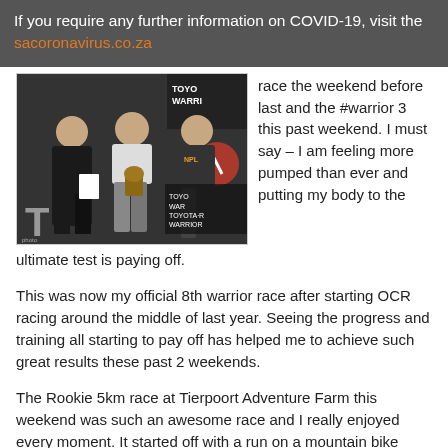If you require any further information on COVID-19, visit the sacoronavirus.co.za
[Figure (photo): Three women standing together at a Toyota Warrior race event, holding trophies and certificates, with Toyota Warrior branding in the background.]
race the weekend before last and the #warrior 3 this past weekend. I must say – I am feeling more pumped than ever and putting my body to the ultimate test is paying off.
This was now my official 8th warrior race after starting OCR racing around the middle of last year. Seeing the progress and training all starting to pay off has helped me to achieve such great results these past 2 weekends.
The Rookie 5km race at Tierpoort Adventure Farm this weekend was such an awesome race and I really enjoyed every moment. It started off with a run on a mountain bike track that headed up a hill to an obstacle.  From there into a trench and onto a river, which involved a crossing. Nice and wet now, it was off to the mud monster.